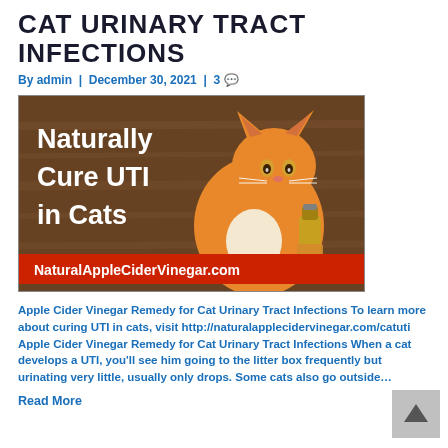CAT URINARY TRACT INFECTIONS
By admin  |  December 30, 2021  |  3
[Figure (photo): Advertisement image showing an orange cat with text 'Naturally Cure UTI in Cats' and a bottle of apple cider vinegar. Red banner at bottom reads NaturalAppleCiderVinegar.com]
Apple Cider Vinegar Remedy for Cat Urinary Tract Infections To learn more about curing UTI in cats, visit http://naturalapplecidervinegar.com/catuti Apple Cider Vinegar Remedy for Cat Urinary Tract Infections When a cat develops a UTI, you'll see him going to the litter box frequently but urinating very little, usually only drops. Some cats also go outside…
Read More